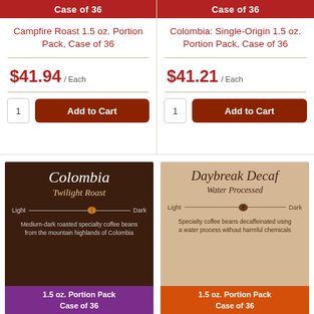Case of 36
Campfire Roast 1.5 oz. Portion Pack, Case of 36
$41.94 / Each
Case of 36
Colombia: Single-Origin 1.5 oz. Portion Pack, Case of 36
$41.21 / Each
[Figure (photo): Colombia Twilight Roast coffee product label - dark brown background with cursive white text, roast meter, description, and purple footer with 1.5 oz. Portion Pack Case of 36]
[Figure (photo): Daybreak Decaf Water Processed coffee product label - tan/beige background with cursive dark text, roast meter, description, and orange footer with 1.5 oz. Portion Pack Case of 36]